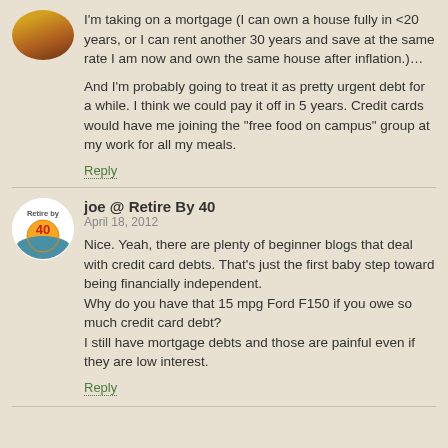I'm taking on a mortgage (I can own a house fully in <20 years, or I can rent another 30 years and save at the same rate I am now and own the same house after inflation.)…
And I'm probably going to treat it as pretty urgent debt for a while. I think we could pay it off in 5 years. Credit cards would have me joining the "free food on campus" group at my work for all my meals.
Reply
joe @ Retire By 40
April 18, 2012
Nice. Yeah, there are plenty of beginner blogs that deal with credit card debts. That's just the first baby step toward being financially independent.
Why do you have that 15 mpg Ford F150 if you owe so much credit card debt?
I still have mortgage debts and those are painful even if they are low interest.
Reply